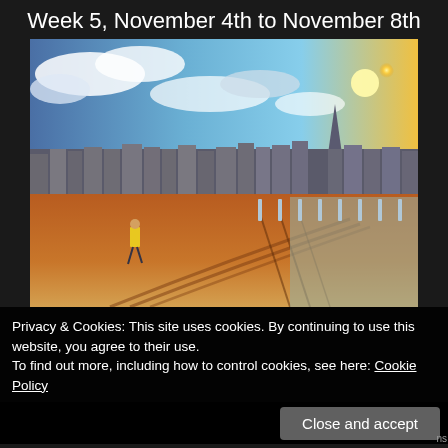Week 5, November 4th to November 8th
[Figure (photo): Coastal promenade scene with Victorian terraced houses along a seafront. A person in a yellow jacket walks along a reddish-brown paved promenade. Blue-white fence posts line the edge near a pebbly beach. Dramatic sky with clouds and bright sun shining on the right. A church spire visible in the background.]
Privacy & Cookies: This site uses cookies. By continuing to use this website, you agree to their use.
To find out more, including how to control cookies, see here: Cookie Policy
Close and accept